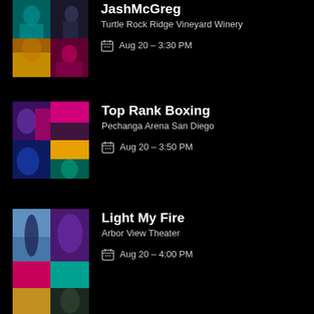[Figure (photo): Collage thumbnail for JashMcGreg event — 4 small concert photos]
JashMcGreg
Turtle Rock Ridge Vineyard Winery
Aug 20 – 3:30 PM
[Figure (photo): Collage thumbnail for Top Rank Boxing event — 4 small photos with colored blocks]
Top Rank Boxing
Pechanga Arena San Diego
Aug 20 – 3:50 PM
[Figure (photo): Collage thumbnail for Light My Fire event — 4 small concert photos]
Light My Fire
Arbor View Theater
Aug 20 – 4:00 PM